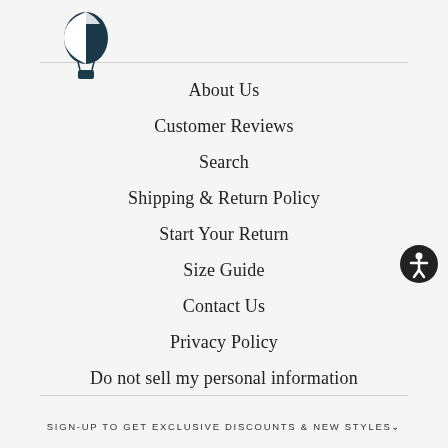[Figure (logo): Hot air balloon logo icon in dark teal/navy color]
About Us
Customer Reviews
Search
Shipping & Return Policy
Start Your Return
Size Guide
Contact Us
Privacy Policy
Do not sell my personal information
SIGN-UP TO GET EXCLUSIVE DISCOUNTS & NEW STYLES